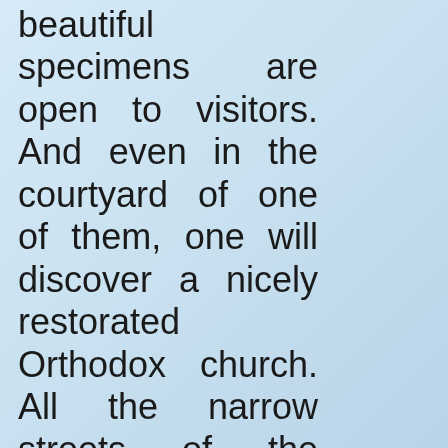beautiful specimens are open to visitors. And even in the courtyard of one of them, one will discover a nicely restorated Orthodox church. All the narrow streets of the village belong to the women, selling handcrafts of all kinds, olive